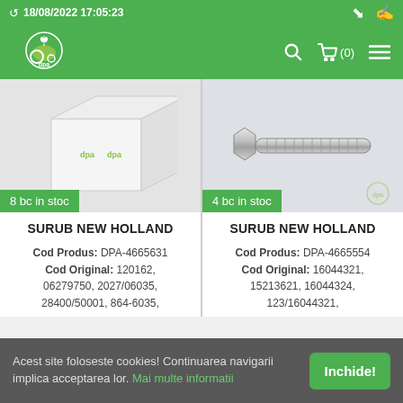18/08/2022 17:05:23
[Figure (logo): DPA logo - tractor with wheat icon, green background navbar]
[Figure (photo): Product image: white box with DPA logo, stock badge '8 bc in stoc']
[Figure (photo): Product image: chrome bolt/screw on gray background, stock badge '4 bc in stoc']
SURUB NEW HOLLAND
Cod Produs: DPA-4665631
Cod Original: 120162, 06279750, 2027/06035, 28400/50001, 864-6035,
SURUB NEW HOLLAND
Cod Produs: DPA-4665554
Cod Original: 16044321, 15213621, 16044324, 123/16044321,
Acest site foloseste cookies! Continuarea navigarii implica acceptarea lor. Mai multe informatii